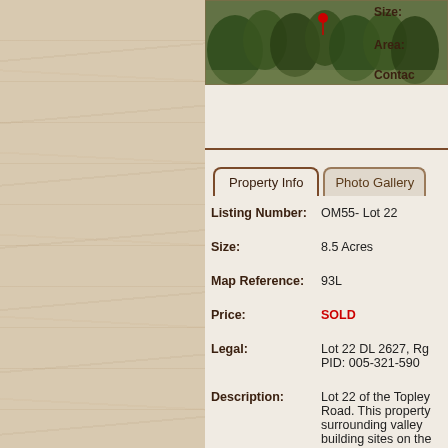[Figure (photo): Outdoor property photo showing trees and vegetation, partially visible at top]
Size:
Area:
Contact
Property Info
Photo Gallery
Listing Number: OM55- Lot 22
Size: 8.5 Acres
Map Reference: 93L
Price: SOLD
Legal: Lot 22 DL 2627, Rg
PID: 005-321-590
Description: Lot 22 of the Topley Road. This property surrounding valley building sites on the privacy to the prop